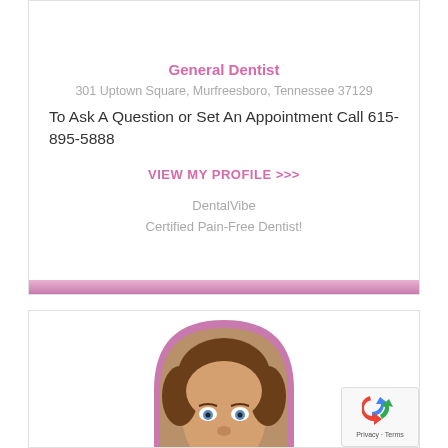General Dentist
301 Uptown Square, Murfreesboro, Tennessee 37129
To Ask A Question or Set An Appointment Call 615-895-5888
VIEW MY PROFILE >>>
DentalVibe
Certified Pain-Free Dentist!
[Figure (photo): Headshot of a male dentist with curly brown hair and blue eyes, smiling, displayed in an arch-shaped frame with a pink/purple border]
Privacy · Terms